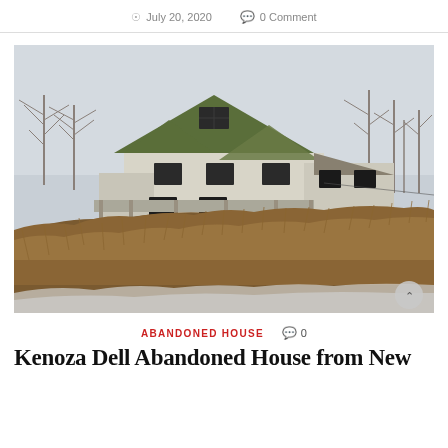July 20, 2020   0 Comment
[Figure (photo): Exterior photograph of the Kenoza Dell abandoned house in winter. A large multi-story Victorian-style house with white siding and a green gabled roof sits atop a hillside covered in dense brown dried vegetation and dusted with snow. Bare trees flank the structure. The sky is overcast and pale grey.]
ABANDONED HOUSE   0
Kenoza Dell Abandoned House from New